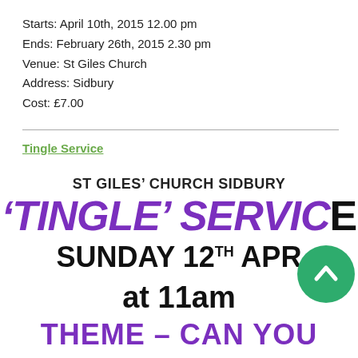Starts: April 10th, 2015 12.00 pm
Ends: February 26th, 2015 2.30 pm
Venue: St Giles Church
Address: Sidbury
Cost: £7.00
Tingle Service
ST GILES' CHURCH SIDBURY
'TINGLE' SERVICE
SUNDAY 12TH APR
at 11am
THEME – CAN YOU